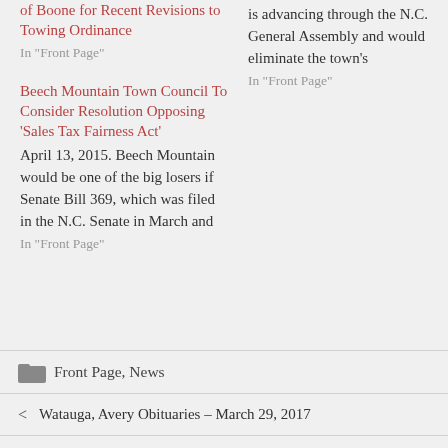of Boone for Recent Revisions to Towing Ordinance
In "Front Page"
is advancing through the N.C. General Assembly and would eliminate the town's
In "Front Page"
Beech Mountain Town Council To Consider Resolution Opposing 'Sales Tax Fairness Act'
April 13, 2015. Beech Mountain would be one of the big losers if Senate Bill 369, which was filed in the N.C. Senate in March and
In "Front Page"
Front Page, News
Watauga, Avery Obituaries – March 29, 2017
Weekly Crime Reports: Activity and Arrests in Boone and Watauga County, Mar. 16-27